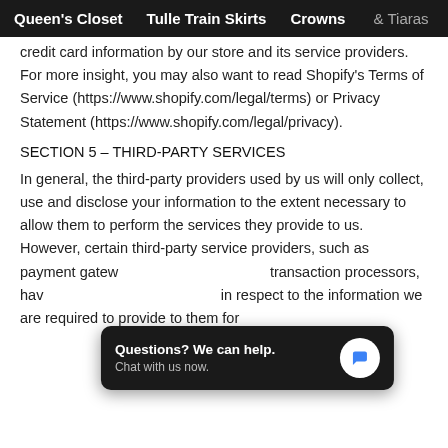Queen's Closet   Tulle Train Skirts   Crowns & Tiaras
credit card information by our store and its service providers.
For more insight, you may also want to read Shopify's Terms of Service (https://www.shopify.com/legal/terms) or Privacy Statement (https://www.shopify.com/legal/privacy).
SECTION 5 – THIRD-PARTY SERVICES
In general, the third-party providers used by us will only collect, use and disclose your information to the extent necessary to allow them to perform the services they provide to us.
However, certain third-party service providers, such as payment gateways and other payment transaction processors, have their own privacy policies in respect to the information we are required to provide to them for